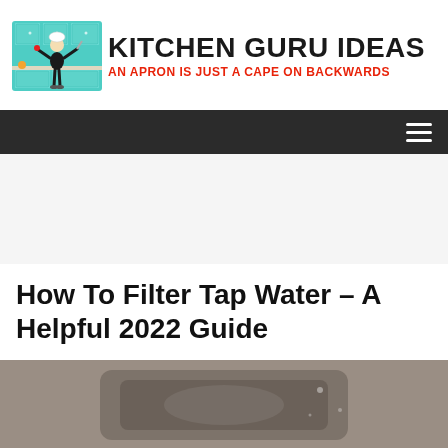[Figure (logo): Kitchen Guru Ideas logo with cartoon chef character holding kitchen utensils in front of a kitchen background. Text reads KITCHEN GURU IDEAS with tagline AN APRON IS JUST A CAPE ON BACKWARDS in red.]
☰
[Figure (other): Gray advertisement placeholder area]
How To Filter Tap Water – A Helpful 2022 Guide
[Figure (photo): Partial photo of water filter or kitchen appliance being held, cropped at bottom of page]